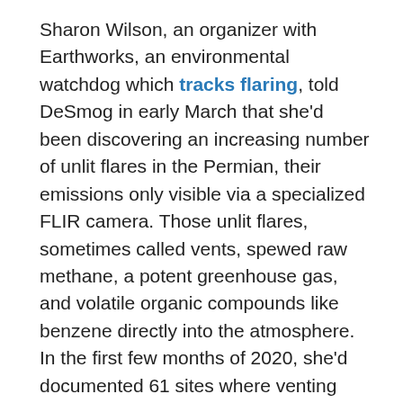Sharon Wilson, an organizer with Earthworks, an environmental watchdog which tracks flaring, told DeSmog in early March that she'd been discovering an increasing number of unlit flares in the Permian, their emissions only visible via a specialized FLIR camera. Those unlit flares, sometimes called vents, spewed raw methane, a potent greenhouse gas, and volatile organic compounds like benzene directly into the atmosphere. In the first few months of 2020, she'd documented 61 sites where venting and flaring was underway, finding that 34 percent of the flares she encountered were unlit, up from 14 percent in 2017.
Recent research, based on satellite data and evidence from trace gases, corroborates concerns that venting and flaring are under-reported in Texas.
“In total, the volumes reported in the state database